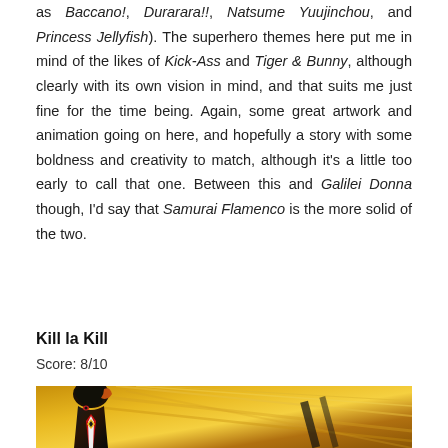as Baccano!, Durarara!!, Natsume Yuujinchou, and Princess Jellyfish). The superhero themes here put me in mind of the likes of Kick-Ass and Tiger & Bunny, although clearly with its own vision in mind, and that suits me just fine for the time being. Again, some great artwork and animation going on here, and hopefully a story with some boldness and creativity to match, although it's a little too early to call that one. Between this and Galilei Donna though, I'd say that Samurai Flamenco is the more solid of the two.
Kill la Kill
Score: 8/10
[Figure (illustration): Anime illustration from Kill la Kill showing a dark-haired character in action pose against a golden dynamic background with motion lines]